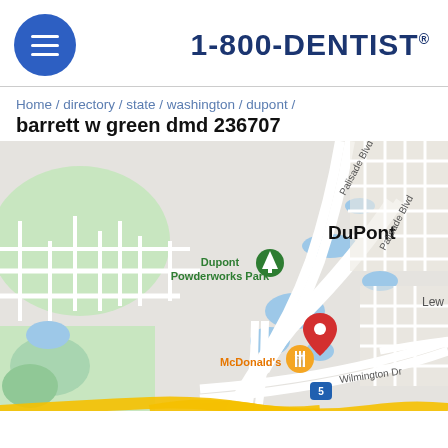[Figure (logo): 1-800-DENTIST logo with hamburger menu button]
Home / directory / state / washington / dupont /
barrett w green dmd 236707
[Figure (map): Google Maps view of DuPont, WA area showing location of Barrett W Green DMD near McDonald's on Wilmington Dr, with Dupont Powderworks Park and Palisade Blvd visible]